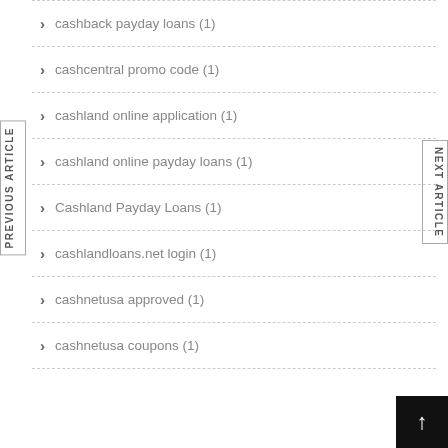cashback payday loans (1)
cashcentral promo code (1)
cashland online application (1)
cashland online payday loans (1)
Cashland Payday Loans (1)
cashlandloans.net login (1)
cashnetusa approved (1)
cashnetusa coupons (1)